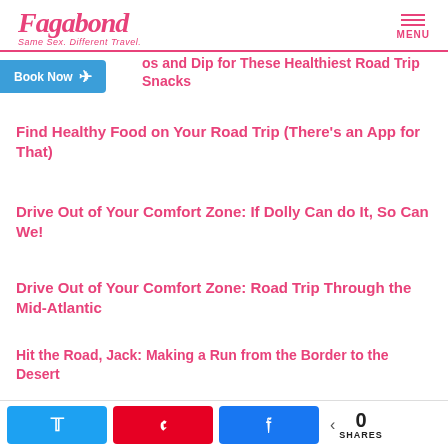Fagabond — Same Sex. Different Travel. | MENU
Book Now
…os and Dip for These Healthiest Road Trip Snacks
Find Healthy Food on Your Road Trip (There's an App for That)
Drive Out of Your Comfort Zone: If Dolly Can do It, So Can We!
Drive Out of Your Comfort Zone: Road Trip Through the Mid-Atlantic
Hit the Road, Jack: Making a Run from the Border to the Desert
Hit the Road, Jack: California Colors
0 SHARES